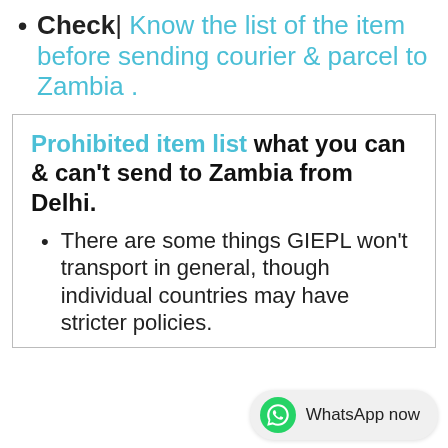Check| Know the list of the item before sending courier & parcel to Zambia .
Prohibited item list what you can & can't send to Zambia from Delhi.
There are some things GIEPL won't transport in general, though individual countries may have stricter policies.